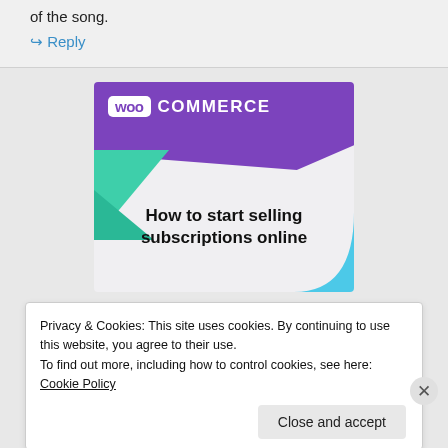of the song.
↪ Reply
[Figure (illustration): WooCommerce advertisement banner showing the WooCommerce logo on a purple background with green and blue decorative triangles, and text reading 'How to start selling subscriptions online']
Privacy & Cookies: This site uses cookies. By continuing to use this website, you agree to their use.
To find out more, including how to control cookies, see here: Cookie Policy
Close and accept